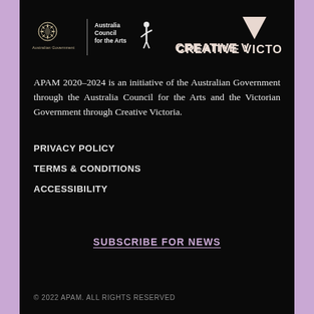[Figure (logo): Australian Government / Australia Council for the Arts logo (left) and Creative Victoria logo (right)]
APAM 2020–2024 is an initiative of the Australian Government through the Australia Council for the Arts and the Victorian Government through Creative Victoria.
PRIVACY POLICY
TERMS & CONDITIONS
ACCESSIBILITY
SUBSCRIBE FOR NEWS
© 2022 APAM. ALL RIGHTS RESERVED